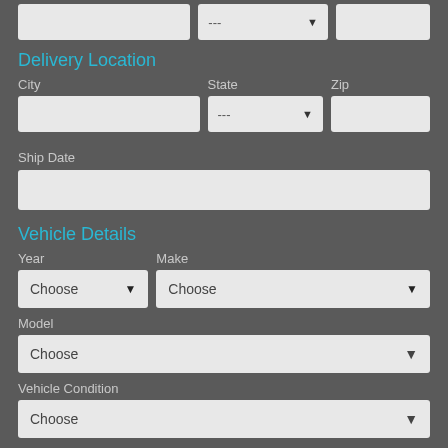Delivery Location
City
State
Zip
Ship Date
Vehicle Details
Year
Make
Model
Vehicle Condition
Shipping Type